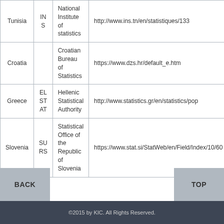| Tunisia | INS | National Institute of statistics | http://www.ins.tn/en/statistiques/133 |
| Croatia |  | Croatian Bureau of Statistics | https://www.dzs.hr/default_e.htm |
| Greece | ELSTAT | Hellenic Statistical Authority | http://www.statistics.gr/en/statistics/pop |
| Slovenia | SURS | Statistical Office of the Republic of Slovenia | https://www.stat.si/StatWeb/en/Field/Index/10/60 |
©2015 by KIC. All Rights Reserved.